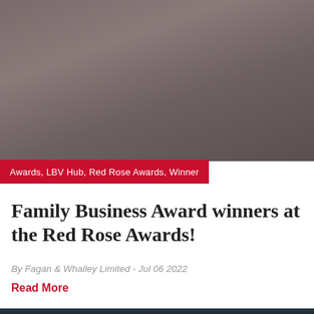[Figure (photo): Grayish-brown muted background photo, partially cropped at top]
Awards, LBV Hub, Red Rose Awards, Winner
Family Business Award winners at the Red Rose Awards!
By Fagan & Whalley Limited - Jul 06 2022
Read More
[Figure (photo): Dark navy/slate background photo, partially visible at bottom of page]